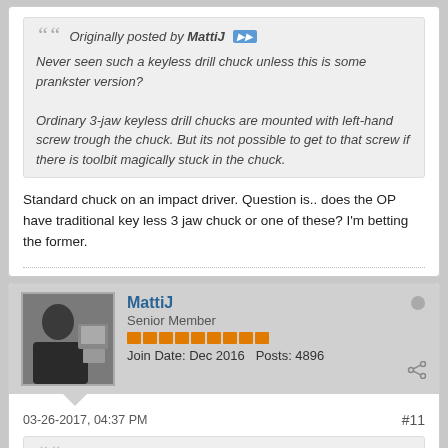Originally posted by MattiJ
Never seen such a keyless drill chuck unless this is some prankster version?

Ordinary 3-jaw keyless drill chucks are mounted with left-hand screw trough the chuck. But its not possible to get to that screw if there is toolbit magically stuck in the chuck.
Standard chuck on an impact driver. Question is.. does the OP have traditional key less 3 jaw chuck or one of these? I'm betting the former.
MattiJ
Senior Member
Join Date: Dec 2016   Posts: 4896
03-26-2017, 04:37 PM
#11
Originally posted by lakeside53
Standard chuck on an impact driver. Question is.. does the OP have traditional key less 3 jaw chuck or one of these? I'm betting the former.